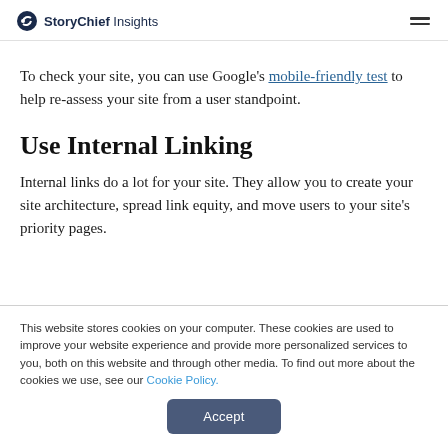StoryChief Insights
To check your site, you can use Google's mobile-friendly test to help re-assess your site from a user standpoint.
Use Internal Linking
Internal links do a lot for your site. They allow you to create your site architecture, spread link equity, and move users to your site's priority pages.
This website stores cookies on your computer. These cookies are used to improve your website experience and provide more personalized services to you, both on this website and through other media. To find out more about the cookies we use, see our Cookie Policy.
Accept